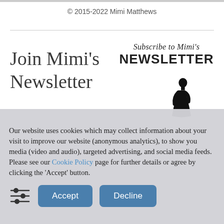© 2015-2022 Mimi Matthews
Join Mimi's Newsletter
[Figure (logo): Subscribe to Mimi's NEWSLETTER logo with silhouette of a Victorian woman]
Our website uses cookies which may collect information about your visit to improve our website (anonymous analytics), to show you media (video and audio), targeted advertising, and social media feeds. Please see our Cookie Policy page for further details or agree by clicking the 'Accept' button.
Accept  Decline